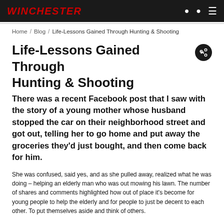WINCHESTER
Home / Blog / Life-Lessons Gained Through Hunting & Shooting
Life-Lessons Gained Through Hunting & Shooting
There was a recent Facebook post that I saw with the story of a young mother whose husband stopped the car on their neighborhood street and got out, telling her to go home and put away the groceries they'd just bought, and then come back for him.
She was confused, said yes, and as she pulled away, realized what he was doing – helping an elderly man who was out mowing his lawn. The number of shares and comments highlighted how out of place it's become for young people to help the elderly and for people to just be decent to each other. To put themselves aside and think of others.